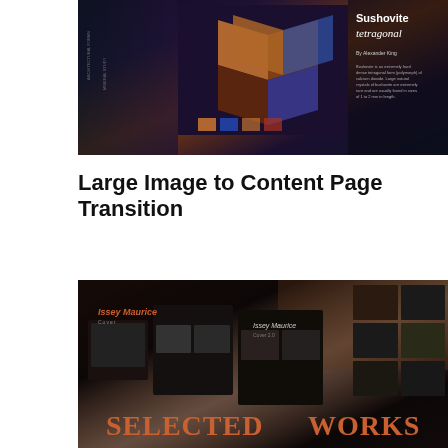[Figure (photo): A dark magazine spread showing geometric architectural shapes with copper/blue tones, overlaid with text 'Sushovite tetragonal' in white serif font on a dark background]
Large Image to Content Page Transition
[Figure (photo): A dark presentation or magazine layout showing 'Issey Maurice' text in copper/orange italic font, with 'SELECTED WORKS' in large orange serif type at the bottom, overlaid on dark moody photography]